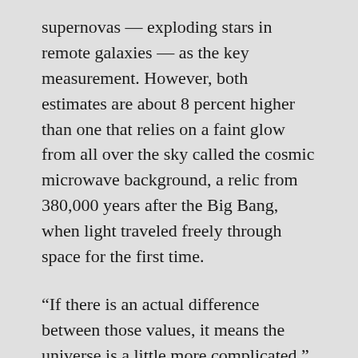supernovas — exploding stars in remote galaxies — as the key measurement. However, both estimates are about 8 percent higher than one that relies on a faint glow from all over the sky called the cosmic microwave background, a relic from 380,000 years after the Big Bang, when light traveled freely through space for the first time.
“If there is an actual difference between those values, it means the universe is a little more complicated,” Treu said.
On the other hand, Treu said, it could also be that one measurement — or all three — are wrong.